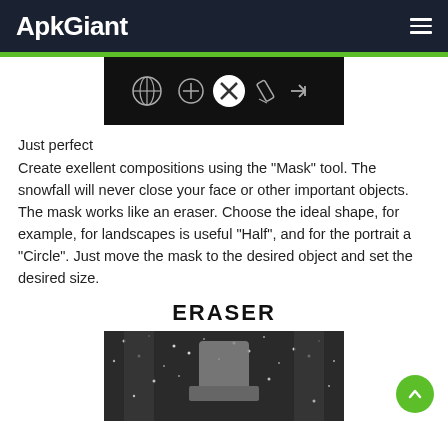ApkGiant
[Figure (screenshot): App toolbar screenshot showing tool icons on dark background including a globe/share icon, plus/add icon, X/close icon (white circle), pencil icon, and arrow icon]
Just perfect
Create exellent compositions using the "Mask" tool. The snowfall will never close your face or other important objects. The mask works like an eraser. Choose the ideal shape, for example, for landscapes is useful "Half", and for the portrait a "Circle". Just move the mask to the desired object and set the desired size.
ERASER
[Figure (screenshot): Black and white photo showing a person wearing a winter knit hat in snow, viewed from below]